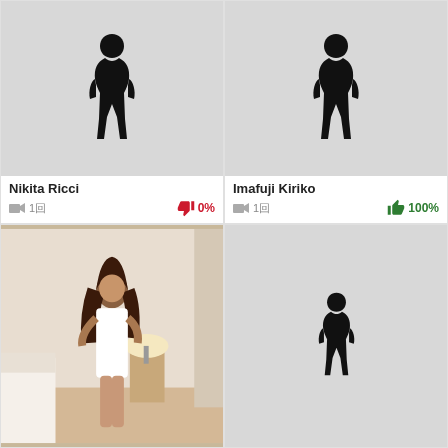[Figure (photo): Card for Nikita Ricci - gray placeholder with female silhouette]
Nikita Ricci
1回  0%
[Figure (photo): Card for Imafuji Kiriko - gray placeholder with female silhouette]
Imafuji Kiriko
1回  100%
[Figure (photo): Photo of a woman in white nurse dress in a room]
[Figure (photo): Gray placeholder with female silhouette - bottom right card]